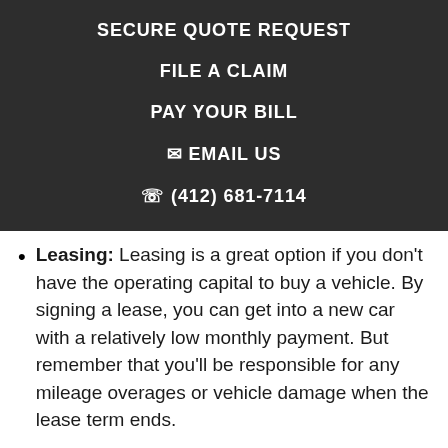SECURE QUOTE REQUEST
FILE A CLAIM
PAY YOUR BILL
✉ EMAIL US
✆ (412) 681-7114
Leasing: Leasing is a great option if you don't have the operating capital to buy a vehicle. By signing a lease, you can get into a new car with a relatively low monthly payment. But remember that you'll be responsible for any mileage overages or vehicle damage when the lease term ends.
Renting: Short-term vehicle rentals are the most expensive option. However, depending on